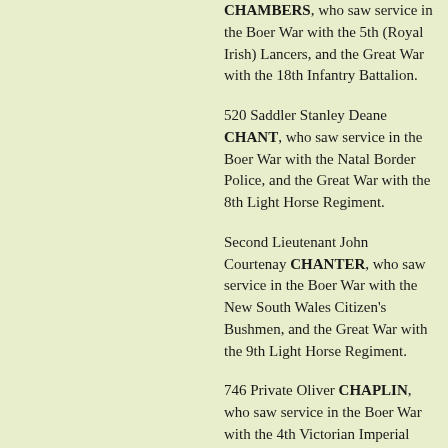CHAMBERS, who saw service in the Boer War with the 5th (Royal Irish) Lancers, and the Great War with the 18th Infantry Battalion.
520 Saddler Stanley Deane CHANT, who saw service in the Boer War with the Natal Border Police, and the Great War with the 8th Light Horse Regiment.
Second Lieutenant John Courtenay CHANTER, who saw service in the Boer War with the New South Wales Citizen's Bushmen, and the Great War with the 9th Light Horse Regiment.
746 Private Oliver CHAPLIN, who saw service in the Boer War with the 4th Victorian Imperial Bushmen, and the Great War with the 9th Light Horse Regiment.
823 Warrant Officer Alick Atkinson CHAPMAN, who saw service in the Boer War with the